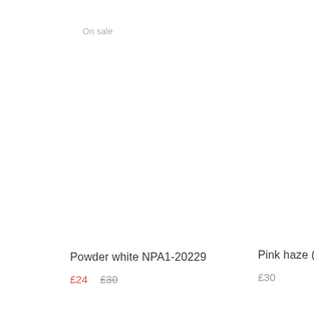On sale
Powder white NPA1-20229
£24  £30
Pink haze (N
£30